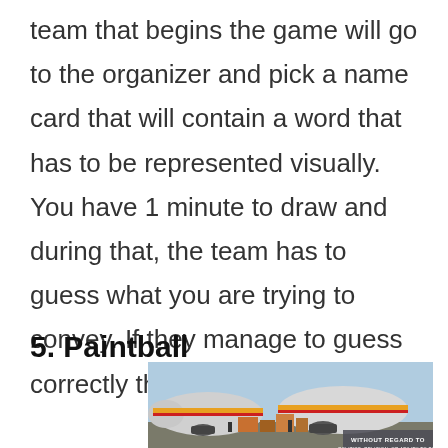team that begins the game will go to the organizer and pick a name card that will contain a word that has to be represented visually. You have 1 minute to draw and during that, the team has to guess what you are trying to convey. If they manage to guess correctly the team gets one point.
5. Paintball
[Figure (photo): Photo of cargo being loaded onto a Southwest Airlines aircraft at an airport, with a gray overlay badge reading 'WITHOUT REGARD TO POLITICS, RELIGION, OR ABILITY TO PAY']